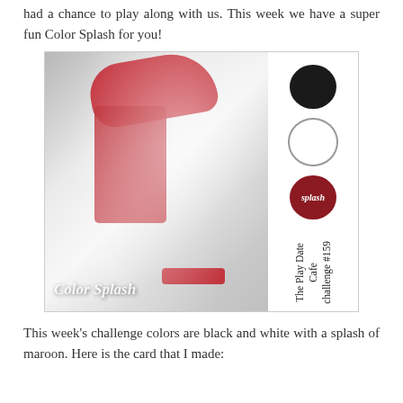had a chance to play along with us. This week we have a super fun Color Splash for you!
[Figure (photo): A color splash image of a red tricycle (Radio Flyer) covered in snow, with the photo in black and white except for red accents on the bike. To the right side, three circles in black, white, and dark red/maroon are shown, with 'splash' text on the red circle. Vertical text reads 'The Play Date Cafe challenge #159'. Text at bottom reads 'Color Splash'.]
This week's challenge colors are black and white with a splash of maroon. Here is the card that I made: